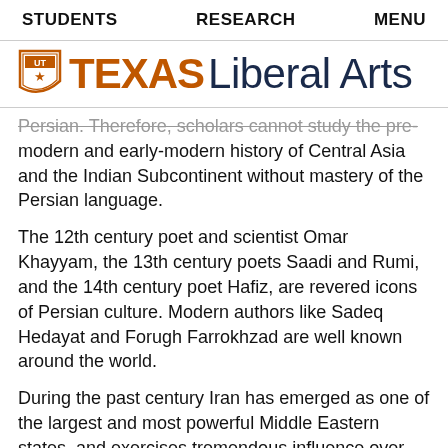STUDENTS   RESEARCH   MENU
[Figure (logo): UT Texas Liberal Arts logo with shield icon, orange TEXAS text and dark blue Liberal Arts text]
Persian. Therefore, scholars cannot study the pre-modern and early-modern history of Central Asia and the Indian Subcontinent without mastery of the Persian language.
The 12th century poet and scientist Omar Khayyam, the 13th century poets Saadi and Rumi, and the 14th century poet Hafiz, are revered icons of Persian culture. Modern authors like Sadeq Hedayat and Forugh Farrokhzad are well known around the world.
During the past century Iran has emerged as one of the largest and most powerful Middle Eastern states, and exercises tremendous influence over the Persian Gulf. Since the mid 1960s, Persian has been defined as a